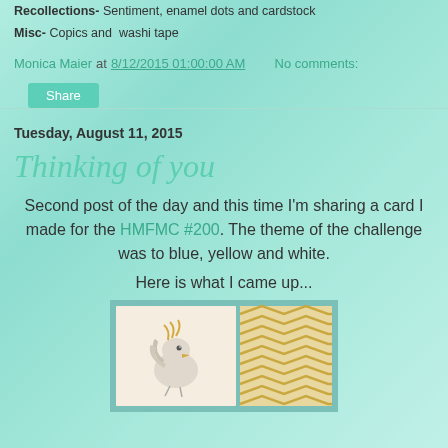Recollections- Sentiment, enamel dots and cardstock
Misc- Copics and washi tape
Monica Maier at 8/12/2015 01:00:00 AM   No comments:
Share
Tuesday, August 11, 2015
Thinking of you
Second post of the day and this time I'm sharing a card I made for the HMFMC #200. The theme of the challenge was to blue, yellow and white.
Here is what I came up...
[Figure (photo): A handmade greeting card with blue/teal border, yellow and white chevron pattern paper, and an illustrated bird/chick design in the center, partially visible at the bottom of the page.]